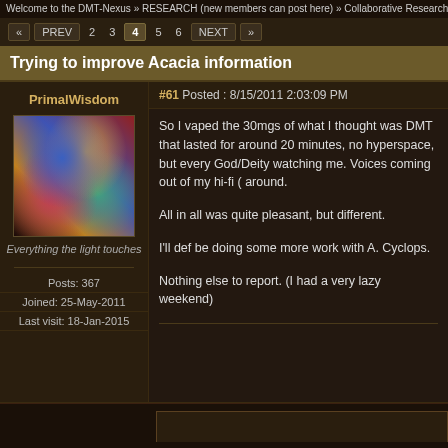Welcome to the DMT-Nexus » RESEARCH (new members can post here) » Collaborative Research
« PREV 2 3 4 5 6 NEXT »
Trying to improve Acacia information
PrimalWisdom
#61 Posted : 8/15/2011 2:03:09 PM
[Figure (photo): Psychedelic art avatar showing a colorful figure with cosmic/fractal imagery]
Everything the light touches
Posts: 367
Joined: 25-May-2011
Last visit: 18-Jan-2015
So I vaped the 30mgs of what I thought was DMT that lasted for around 20 minutes, no hyperspace, but every God/Deity watching me. Voices coming out of my hi-fi ( around.
All in all was quite pleasant, but different.
I'll def be doing some more work with A. Cyclops.
Nothing else to report. (I had a very lazy weekend)